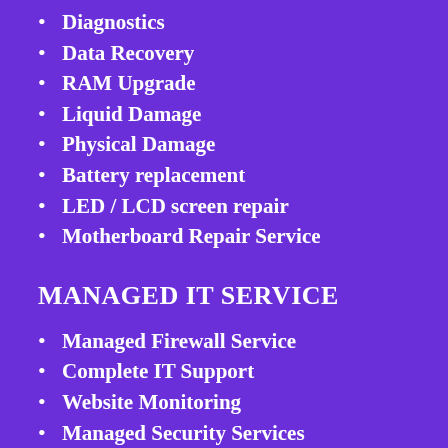Diagnostics
Data Recovery
RAM Upgrade
Liquid Damage
Physical Damage
Battery replacement
LED / LCD screen repair
Motherboard Repair Service
MANAGED IT SERVICE
Managed Firewall Service
Complete IT Support
Website Monitoring
Managed Security Services
Managed Computer Support
Remote IT Monitoring